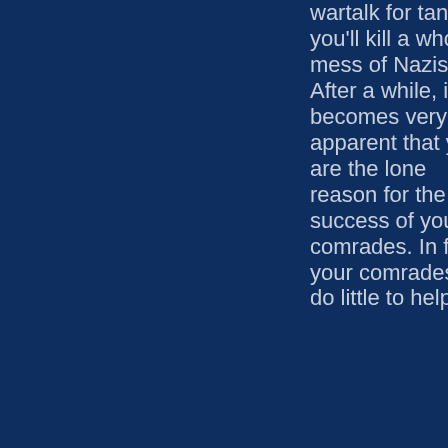wartalk for tank?) you'll kill a whole mess of Nazis. After a while, it becomes very apparent that you are the lone reason for the success of your comrades. In fact, your comrades do little to help